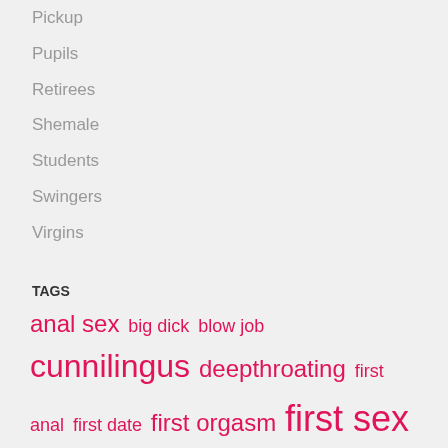Pickup
Pupils
Retirees
Shemale
Students
Swingers
Virgins
TAGS
anal sex big dick blow job cunnilingus deepthroating first anal first date first orgasm first sex g-spot gay sex hard-sex lesbian sex oral pussy orgasm sex on the sea threesome